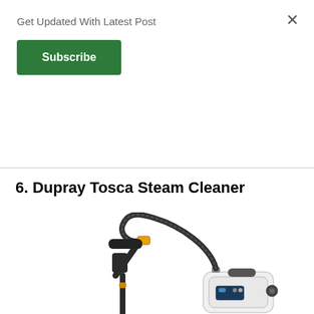Get Updated With Latest Post
Subscribe
6. Dupray Tosca Steam Cleaner
[Figure (photo): Dupray Tosca Steam Cleaner product photo showing a black steam cleaner unit with a long curved hose, gun-style handle with yellow fitting at the top, and a white base unit with handle and control panel at the bottom right.]